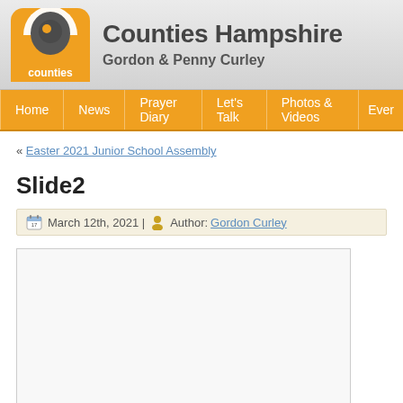Counties Hampshire — Gordon & Penny Curley
Home | News | Prayer Diary | Let's Talk | Photos & Videos | Ever
« Easter 2021 Junior School Assembly
Slide2
March 12th, 2021 | Author: Gordon Curley
[Figure (other): Empty image placeholder box with a border]